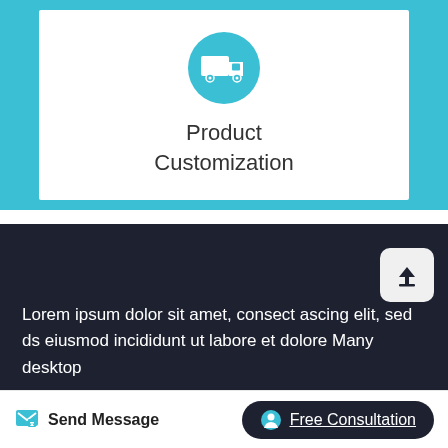[Figure (illustration): White card with teal truck/delivery icon on teal background]
Product Customization
Lorem ipsum dolor sit amet, consect ascing elit, sed ds eiusmod incididunt ut labore et dolore Many desktop
Send Message
Free Consultation